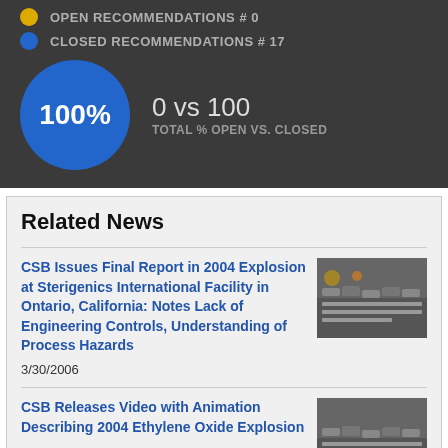OPEN RECOMMENDATIONS # 0
CLOSED RECOMMENDATIONS # 17
[Figure (infographic): Large blue circle showing 100% with text '0 vs 100' and label 'TOTAL % OPEN VS. CLOSED']
Related News
CSB Issues Final Report in 2004 Explosion at Sterigenics International Facility in Ontario, California: Notes Lack of Engineering Controls, Understanding of Process Hazards
3/30/2006
CSB Releases Video with Animation Describing 2004 Ethylene Oxide Explosion